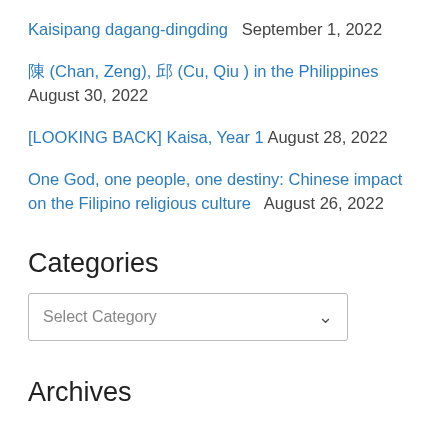Kaisipang dagang-dingding  September 1, 2022
陳 (Chan, Zeng), 邱 (Cu, Qiu ) in the Philippines  August 30, 2022
[LOOKING BACK] Kaisa, Year 1  August 28, 2022
One God, one people, one destiny: Chinese impact on the Filipino religious culture  August 26, 2022
Categories
Select Category
Archives